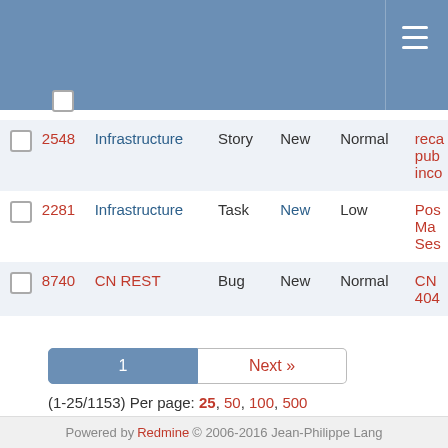| # | Project | Type | Status | Priority | Subject |
| --- | --- | --- | --- | --- | --- |
| 2548 | Infrastructure | Story | New | Normal | reca... pub... inco... |
| 2281 | Infrastructure | Task | New | Low | Pos... Ma... Ses... |
| 8740 | CN REST | Bug | New | Normal | CN ... 404... |
(1-25/1153) Per page: 25, 50, 100, 500
Also available in: Atom | CSV | PDF
Powered by Redmine © 2006-2016 Jean-Philippe Lang